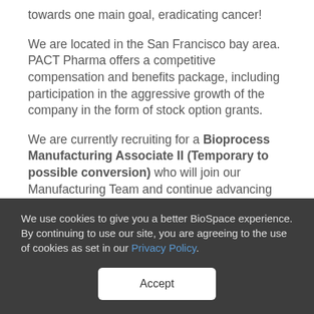towards one main goal, eradicating cancer!
We are located in the San Francisco bay area. PACT Pharma offers a competitive compensation and benefits package, including participation in the aggressive growth of the company in the form of stock option grants.
We are currently recruiting for a Bioprocess Manufacturing Associate II (Temporary to possible conversion) who will join our Manufacturing Team and continue advancing PACT's
We use cookies to give you a better BioSpace experience. By continuing to use our site, you are agreeing to the use of cookies as set in our Privacy Policy.
Accept